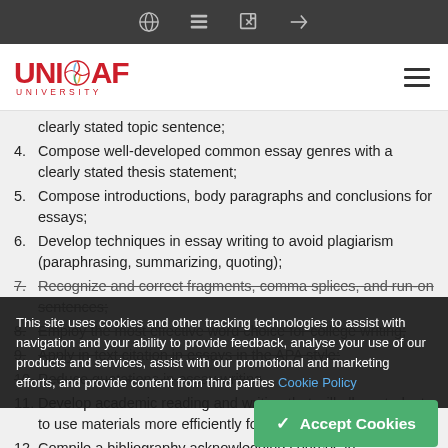UNICAF UNIVERSITY — Navigation bar with icons
[Figure (logo): UNICAF UNIVERSITY logo in red with globe icon]
clearly stated topic sentence;
4. Compose well-developed common essay genres with a clearly stated thesis statement;
5. Compose introductions, body paragraphs and conclusions for essays;
6. Develop techniques in essay writing to avoid plagiarism (paraphrasing, summarizing, quoting);
7. Recognize and correct fragments, comma splices, and run-on sentences;
8. Employ the most effective word choice for college writing;
9. Apply in-text citation in essays in the APA style;
10. Reduce quotations in essay writing
11. Develop academic reading and writing that will allow students to use materials more efficiently for academic progression;
12. Compile a bibliography acknowledging sources in
This site uses cookies and other tracking technologies to assist with navigation and your ability to provide feedback, analyse your use of our products and services, assist with our promotional and marketing efforts, and provide content from third parties Cookie Policy